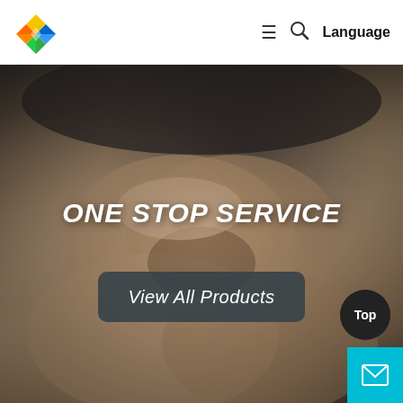[Figure (logo): Colorful diamond/star shaped logo with green, blue, yellow, and orange quadrants]
≡  🔍  Language
[Figure (photo): Close-up photo of two people shaking hands or clasping hands together, dark/blurred background with skin-toned hands in focus]
ONE STOP SERVICE
View All Products
Top
[Figure (other): Cyan/blue mail icon button in bottom right corner]